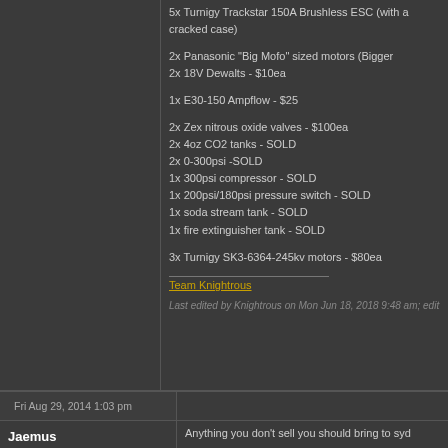5x Turnigy Trackstar 150A Brushless ESC (with a cracked case)
2x Panasonic "Big Mofo" sized motors (Bigger)
2x 18V Dewalts - $10ea
1x E30-150 Ampflow - $25
2x Zex nitrous oxide valves - $100ea
2x 4oz CO2 tanks - SOLD
2x 0-300psi -SOLD
1x 300psi compressor - SOLD
1x 200psi/180psi pressure switch - SOLD
1x soda stream tank - SOLD
1x fire extinguisher tank - SOLD
3x Turnigy SK3-6364-245kv motors - $80ea
Team Knightrous
Last edited by Knightrous on Mon Jun 18, 2018 9:48 am; edit
Fri Aug 29, 2014 1:03 pm
Jaemus
Experienced Roboteer
[Figure (other): Sorry. This Image is currently Unavailable placeholder box]
Anything you don't sell you should bring to syd
<Patrician|Away> what does your robot do, sam
<bovril> it collects data about the surrounding e walls